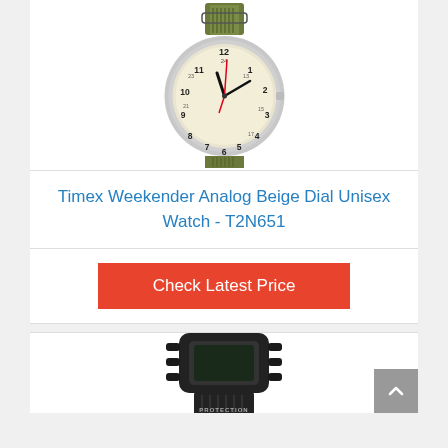[Figure (photo): Timex Weekender watch with beige dial and olive green nylon strap, showing analog face with black hour markers and red second hand]
Timex Weekender Analog Beige Dial Unisex Watch - T2N651
Check Latest Price
[Figure (photo): Casio G-Shock black watch with PROTECTION label visible on the band, partially visible]